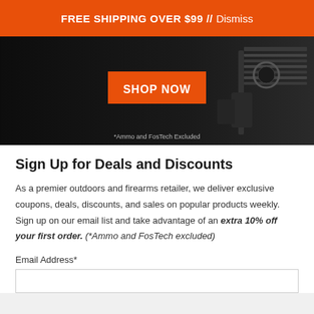FREE SHIPPING OVER $99 // Dismiss
[Figure (photo): Dark hero image with a rifle/firearm visible on the right side, featuring an orange 'SHOP NOW' button in the center and '*Ammo and FosTech Excluded' text at the bottom]
Sign Up for Deals and Discounts
As a premier outdoors and firearms retailer, we deliver exclusive coupons, deals, discounts, and sales on popular products weekly. Sign up on our email list and take advantage of an extra 10% off your first order. (*Ammo and FosTech excluded)
Email Address*